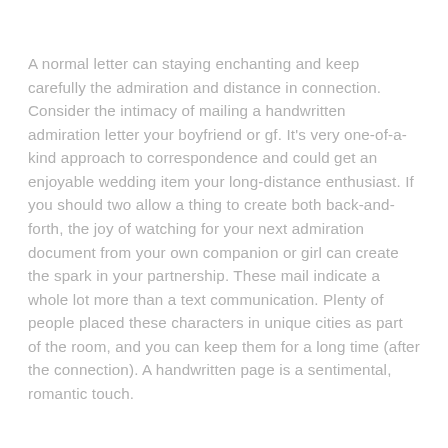A normal letter can staying enchanting and keep carefully the admiration and distance in connection. Consider the intimacy of mailing a handwritten admiration letter your boyfriend or gf. It's very one-of-a-kind approach to correspondence and could get an enjoyable wedding item your long-distance enthusiast. If you should two allow a thing to create both back-and-forth, the joy of watching for your next admiration document from your own companion or girl can create the spark in your partnership. These mail indicate a whole lot more than a text communication. Plenty of people placed these characters in unique cities as part of the room, and you can keep them for a long time (after the connection). A handwritten page is a sentimental, romantic touch.